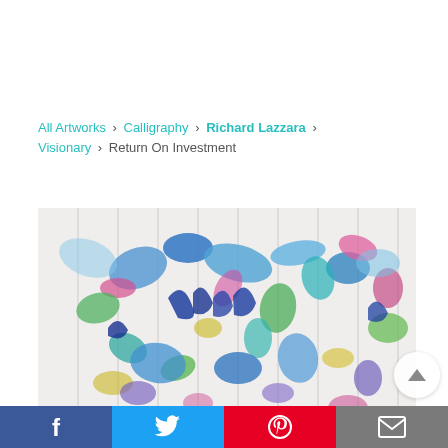All Artworks › Calligraphy › Richard Lazzara › Visionary › Return On Investment
[Figure (photo): Colorful abstract painting with blue, green, pink, and purple brushstrokes forming calligraphic figures against a light background, titled 'Return On Investment' by Richard Lazzara]
[Figure (other): Social media share bar with Facebook (blue), Twitter (light blue), Pinterest (red), and email (grey) icons at bottom of page]